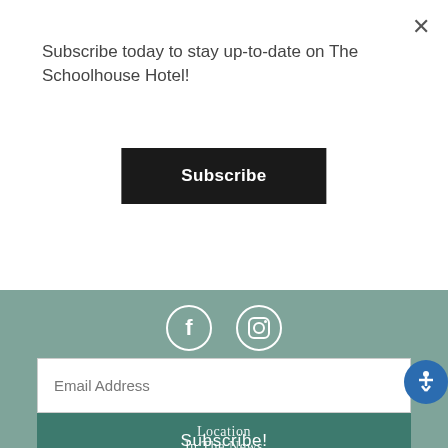Subscribe today to stay up-to-date on The Schoolhouse Hotel!
Subscribe
[Figure (illustration): Facebook circle icon in white on teal background]
[Figure (illustration): Instagram circle icon in white on teal background]
Stay Connected
Email Address
Subscribe!
Location
In The News
History